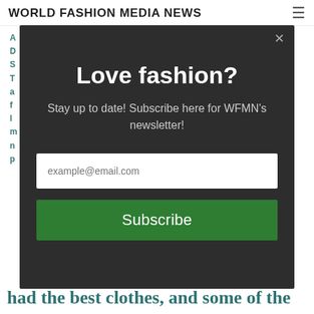WORLD FASHION MEDIA NEWS
[Figure (screenshot): Modal popup overlay on a fashion news website. Dark background modal with title 'Love fashion?', subtitle 'Stay up to date! Subscribe here for WFMN's newsletter!', an email input field with placeholder 'example@email.com', and a green 'Subscribe' button. A close (×) button is in the top-right corner of the modal.]
had the best clothes, and some of the